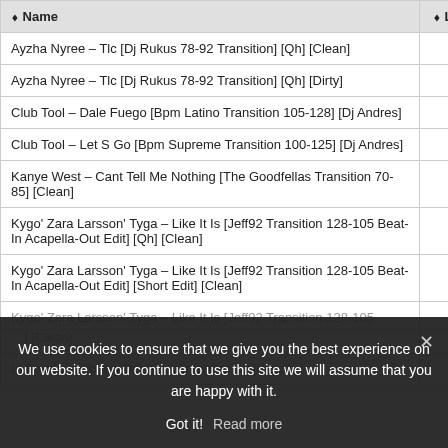| Name | Lengt |
| --- | --- |
| Ayzha Nyree – Tlc [Dj Rukus 78-92 Transition] [Qh] [Clean] | 01:5 |
| Ayzha Nyree – Tlc [Dj Rukus 78-92 Transition] [Qh] [Dirty] | 01:5 |
| Club Tool – Dale Fuego [Bpm Latino Transition 105-128] [Dj Andres] | 01:2 |
| Club Tool – Let S Go [Bpm Supreme Transition 100-125] [Dj Andres] | 01:0 |
| Kanye West – Cant Tell Me Nothing [The Goodfellas Transition 70-85] [Clean] | 02:0 |
| Kygo' Zara Larsson' Tyga – Like It Is [Jeff92 Transition 128-105 Beat-In Acapella-Out Edit] [Qh] [Clean] | 01:3 |
| Kygo' Zara Larsson' Tyga – Like It Is [Jeff92 Transition 128-105 Beat-In Acapella-Out Edit] [Short Edit] [Clean] | 02:1 |
| Kygo' Zara Larsson' Tyga – Like It Is [Jeff92 Transition 128-105 ... |  |
| ...[Clean] |  |
| ... (partially visible row) |  |
We use cookies to ensure that we give you the best experience on our website. If you continue to use this site we will assume that you are happy with it.